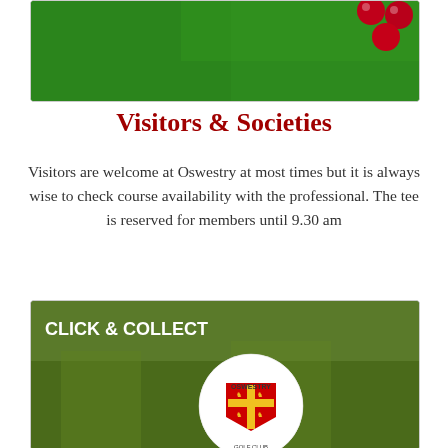[Figure (photo): Close-up photo of green snooker/billiard table surface with red balls visible at top right corner]
Visitors & Societies
Visitors are welcome at Oswestry at most times but it is always wise to check course availability with the professional. The tee is reserved for members until 9.30 am
[Figure (photo): Photo of a white golf ball with Oswestry Golf Club crest logo on a grass background, with 'CLICK & COLLECT' text overlay in white]